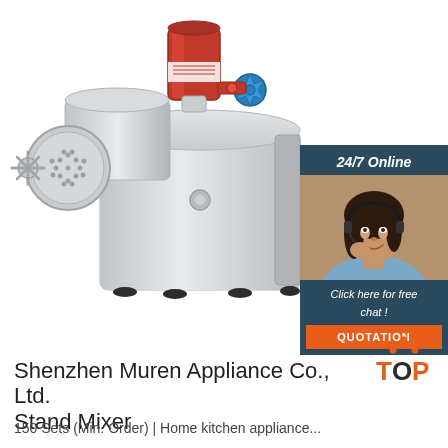[Figure (photo): Stainless steel commercial meat grinder/stand mixer machine on white background, with red label cylinder on top, blue star-shaped knob, and perforated disc attachment on the left side. Shown with rubber feet at the base.]
[Figure (infographic): 24/7 Online chat widget overlay on the right side of the product image. Features dark teal/navy background, '24/7 Online' heading in white italic, photo of a smiling woman with a headset, text 'Click here for free chat!' in white italic, and an orange 'QUOTATION' button.]
[Figure (logo): TOP logo in orange/red with dot triangle above the letters T, O, P]
Shenzhen Muren Appliance Co., Ltd. Stand Mixer
150 Sets (Min. Order) | Home kitchen appliance...